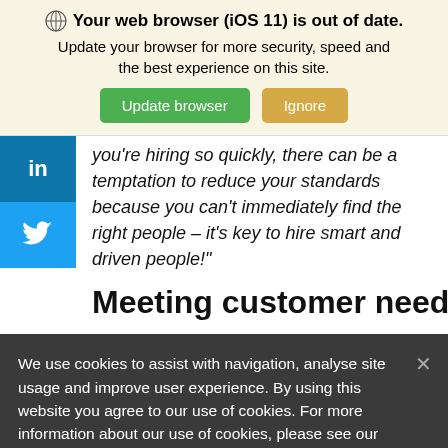Your web browser (iOS 11) is out of date. Update your browser for more security, speed and the best experience on this site. [Update browser] [Ignore]
you're hiring so quickly, there can be a temptation to reduce your standards because you can't immediately find the right people – it's key to hire smart and driven people!"
Meeting customer needs
We use cookies to assist with navigation, analyse site usage and improve user experience. By using this website you agree to our use of cookies. For more information about our use of cookies, please see our Privacy Policy.